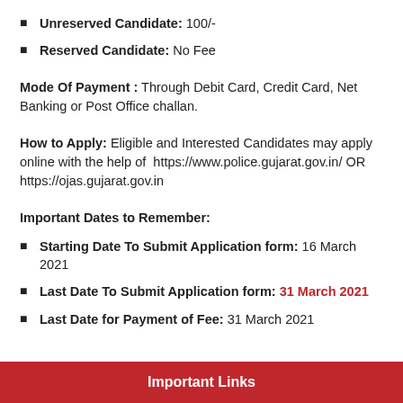Unreserved Candidate: 100/-
Reserved Candidate: No Fee
Mode Of Payment : Through Debit Card, Credit Card, Net Banking or Post Office challan.
How to Apply: Eligible and Interested Candidates may apply online with the help of https://www.police.gujarat.gov.in/ OR https://ojas.gujarat.gov.in
Important Dates to Remember:
Starting Date To Submit Application form: 16 March 2021
Last Date To Submit Application form: 31 March 2021
Last Date for Payment of Fee: 31 March 2021
Important Links